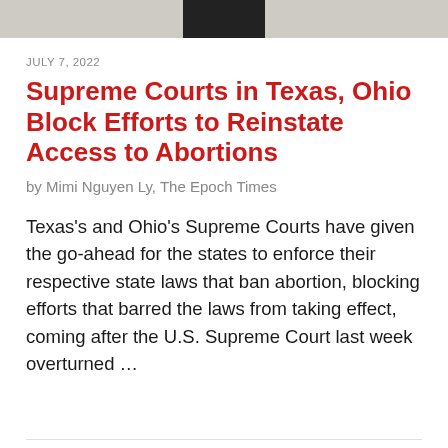[Figure (photo): Partial image banner at top of page, showing a dark silhouette against a light/grey background]
JULY 7, 2022
Supreme Courts in Texas, Ohio Block Efforts to Reinstate Access to Abortions
by Mimi Nguyen Ly, The Epoch Times
Texas’s and Ohio’s Supreme Courts have given the go-ahead for the states to enforce their respective state laws that ban abortion, blocking efforts that barred the laws from taking effect, coming after the U.S. Supreme Court last week overturned …